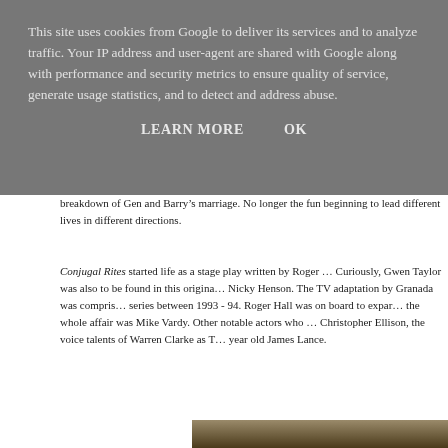This site uses cookies from Google to deliver its services and to analyze traffic. Your IP address and user-agent are shared with Google along with performance and security metrics to ensure quality of service, generate usage statistics, and to detect and address abuse.
LEARN MORE    OK
breakdown of Gen and Barry’s marriage. No longer the fun beginning to lead different lives in different directions.
Conjugal Rites started life as a stage play written by Roger … Curiously, Gwen Taylor was also to be found in this origina… Nicky Henson. The TV adaptation by Granada was compris… series between 1993 - 94. Roger Hall was on board to expar… the whole affair was Mike Vardy. Other notable actors who … Christopher Ellison, the voice talents of Warren Clarke as T… year old James Lance.
[Figure (photo): Partial view of a photo at the bottom of the page, showing what appears to be people, cropped at the bottom edge]